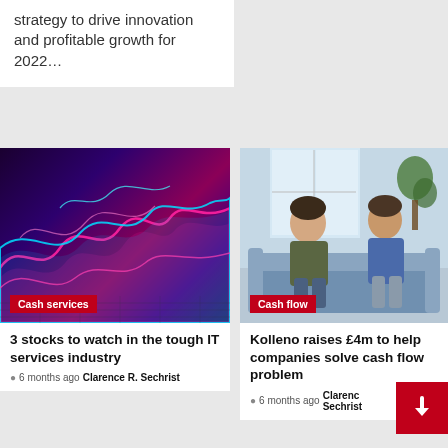strategy to drive innovation and profitable growth for 2022…
[Figure (photo): Abstract digital wave visualization with pink and blue glowing waves on dark background, labeled Cash services]
Cash services
3 stocks to watch in the tough IT services industry
🕐 6 months ago  Clarence R. Sechrist
[Figure (photo): Two men sitting on a blue sofa in a bright office, labeled Cash flow]
Cash flow
Kolleno raises £4m to help companies solve cash flow problem
🕐 6 months ago  Clarence Sechrist